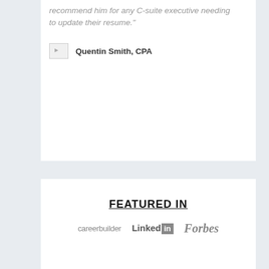recommend him for any C-suite executive needing to update their resume."
Quentin Smith, CPA
FEATURED IN
[Figure (logo): Logos for careerbuilder, LinkedIn, and Forbes displayed in a row]